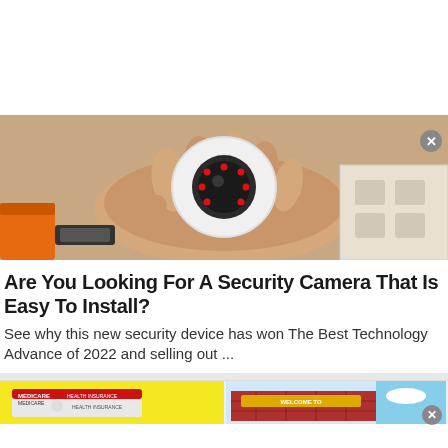[Figure (photo): White top ad banner area (blank)]
[Figure (photo): Photo of a hand holding a small white dome security camera, with orange tool handle and cardboard box in background]
Are You Looking For A Security Camera That Is Easy To Install?
See why this new security device has won The Best Technology Advance of 2022 and selling out ...
Trending Gadgets | Sponsored
[Figure (screenshot): Bottom banner ad strip: left side yellow background with Medicare Health Insurance card image, right side showing brick building with 'Welcome To' sign]